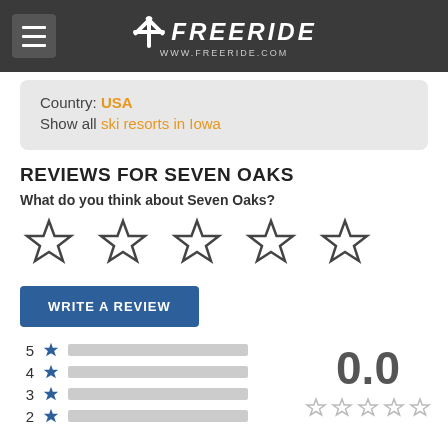FREERIDE www.freeride.com
Country: USA
Show all ski resorts in Iowa
REVIEWS FOR SEVEN OAKS
What do you think about Seven Oaks?
[Figure (other): Five empty star rating icons in a row]
WRITE A REVIEW
[Figure (infographic): Star rating breakdown with bars for 5,4,3,2 stars all empty, overall score 0.0 with 5 empty stars]